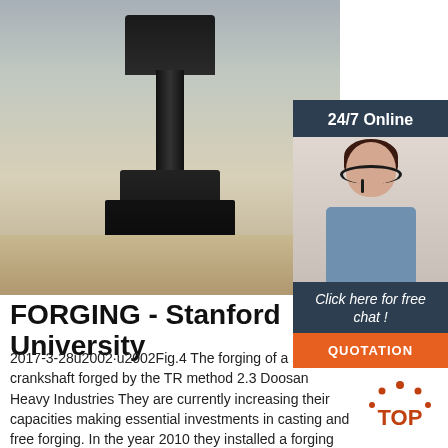[Figure (photo): Industrial forging press machine in a warehouse/factory setting, large black heavy machinery on concrete floor]
[Figure (photo): 24/7 Online chat widget with photo of smiling woman with headset, 'Click here for free chat!' text and orange QUOTATION button]
FORGING - Stanford University
2017-3-28u2002·u2002Fig.4 The forging of a ship crankshaft forged by the TR method 2.3 Doosan Heavy Industries They are currently increasing their capacities making essential investments in casting and free forging. In the year 2010 they installed a forging press of 170 MN.